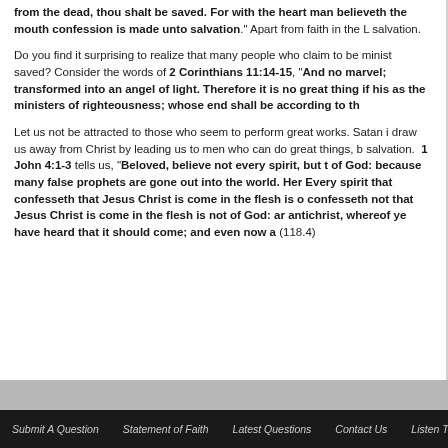from the dead, thou shalt be saved. For with the heart man believeth the mouth confession is made unto salvation." Apart from faith in the L salvation.
Do you find it surprising to realize that many people who claim to be minist saved? Consider the words of 2 Corinthians 11:14-15, "And no marvel; transformed into an angel of light. Therefore it is no great thing if his as the ministers of righteousness; whose end shall be according to th
Let us not be attracted to those who seem to perform great works. Satan i draw us away from Christ by leading us to men who can do great things, b salvation. 1 John 4:1-3 tells us, "Beloved, believe not every spirit, but t of God: because many false prophets are gone out into the world. Her Every spirit that confesseth that Jesus Christ is come in the flesh is o confesseth not that Jesus Christ is come in the flesh is not of God: ar antichrist, whereof ye have heard that it should come; and even now a (118.4)
Submit A Question   Statement of Faith   Latest Questions   Contact Us   Listen To The